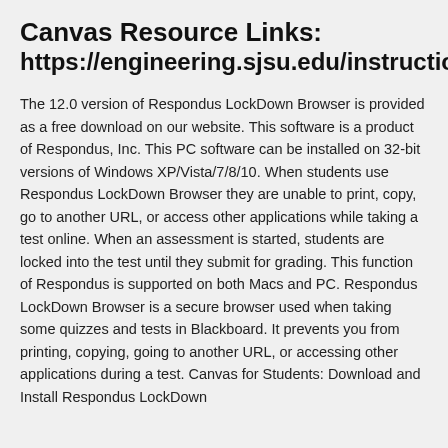Canvas Resource Links: https://engineering.sjsu.edu/instruction
The 12.0 version of Respondus LockDown Browser is provided as a free download on our website. This software is a product of Respondus, Inc. This PC software can be installed on 32-bit versions of Windows XP/Vista/7/8/10. When students use Respondus LockDown Browser they are unable to print, copy, go to another URL, or access other applications while taking a test online. When an assessment is started, students are locked into the test until they submit for grading. This function of Respondus is supported on both Macs and PC. Respondus LockDown Browser is a secure browser used when taking some quizzes and tests in Blackboard. It prevents you from printing, copying, going to another URL, or accessing other applications during a test. Canvas for Students: Download and Install Respondus LockDown